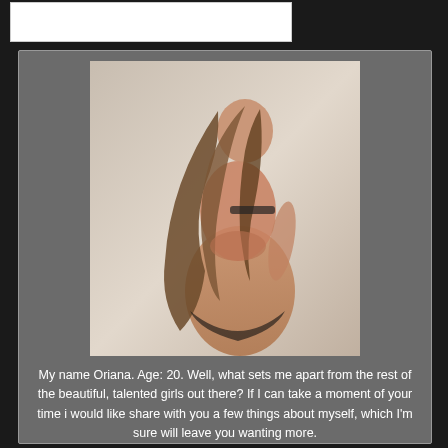[Figure (photo): Young woman with long wavy brown hair, photographed from behind/side, wearing black lingerie, against a light background.]
My name Oriana. Age: 20. Well, what sets me apart from the rest of the beautiful, talented girls out there? If I can take a moment of your time i would like share with you a few things about myself, which I'm sure will leave you wanting more.